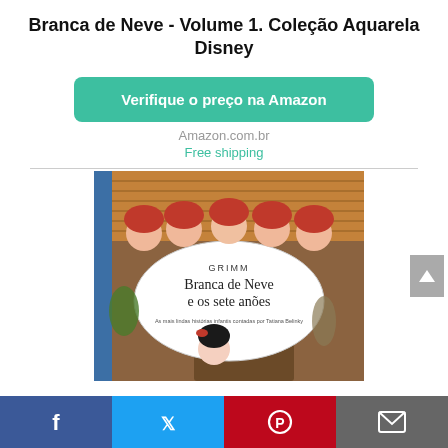Branca de Neve - Volume 1. Coleção Aquarela Disney
Verifique o preço na Amazon
Amazon.com.br
Free shipping
[Figure (photo): Book cover of 'Branca de Neve e os sete anões' (Snow White and the Seven Dwarfs), part of the Grimm / Coleção Aquarela Disney series, illustrated with cartoon dwarfs peeking over a wall and Snow White peeking around a door.]
Facebook | Twitter | Pinterest | Email